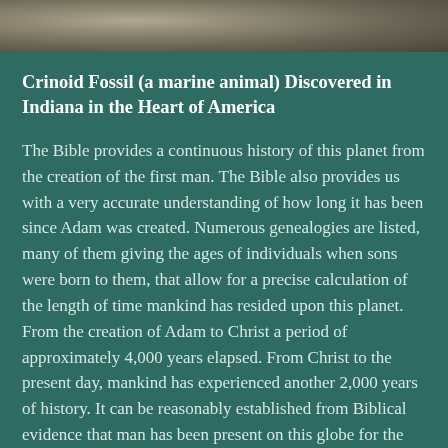[Figure (photo): Close-up photograph of a crinoid fossil embedded in rock, showing textured stone surface]
Crinoid Fossil (a marine animal) Discovered in Indiana in the Heart of America
The Bible provides a continuous history of this planet from the creation of the first man. The Bible also provides us with a very accurate understanding of how long it has been since Adam was created. Numerous genealogies are listed, many of them giving the ages of individuals when sons were born to them, that allow for a precise calculation of the length of time mankind has resided upon this planet. From the creation of Adam to Christ a period of approximately 4,000 years elapsed. From Christ to the present day, mankind has experienced another 2,000 years of history. It can be reasonably established from Biblical evidence that man has been present on this globe for the